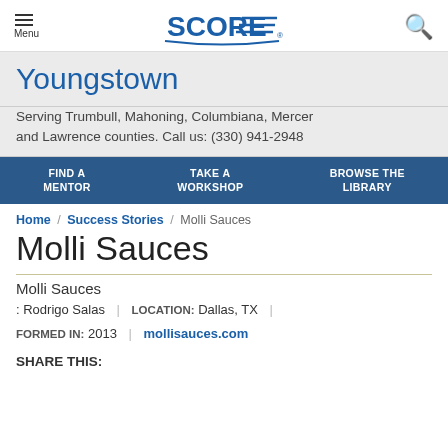Menu | SCORE | Search
Youngstown
Serving Trumbull, Mahoning, Columbiana, Mercer and Lawrence counties. Call us: (330) 941-2948
FIND A MENTOR | TAKE A WORKSHOP | BROWSE THE LIBRARY
Home / Success Stories / Molli Sauces
Molli Sauces
Molli Sauces
: Rodrigo Salas | LOCATION: Dallas, TX | FORMED IN: 2013 | mollisauces.com
SHARE THIS: